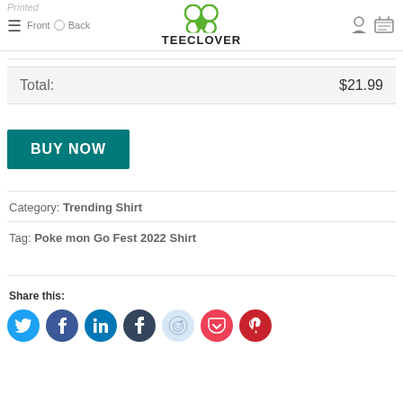TEECLOVER
Total: $21.99
BUY NOW
Category: Trending Shirt
Tag: Poke mon Go Fest 2022 Shirt
Share this:
[Figure (other): Social share icons: Twitter, Facebook, LinkedIn, Tumblr, Reddit, Pocket, Pinterest]